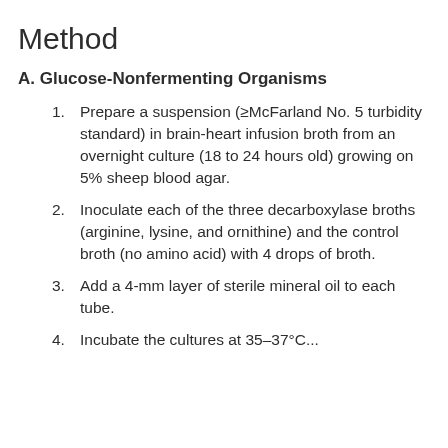Method
A. Glucose-Nonfermenting Organisms
Prepare a suspension (≥McFarland No. 5 turbidity standard) in brain-heart infusion broth from an overnight culture (18 to 24 hours old) growing on 5% sheep blood agar.
Inoculate each of the three decarboxylase broths (arginine, lysine, and ornithine) and the control broth (no amino acid) with 4 drops of broth.
Add a 4-mm layer of sterile mineral oil to each tube.
Incubate the cultures at 35–37°C...